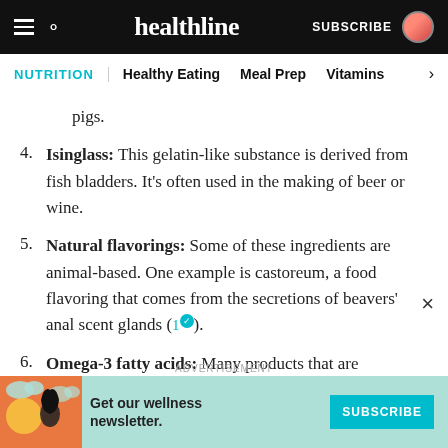healthline | NUTRITION | Healthy Eating | Meal Prep | Vitamins
pigs.
4. Isinglass: This gelatin-like substance is derived from fish bladders. It’s often used in the making of beer or wine.
5. Natural flavorings: Some of these ingredients are animal-based. One example is castoreum, a food flavoring that comes from the secretions of beavers’ anal scent glands (1).
6. Omega-3 fatty acids: Many products that are
[Figure (infographic): Advertisement banner with teal background showing a wellness newsletter subscription prompt with a SUBSCRIBE button and an illustration of a woman.]